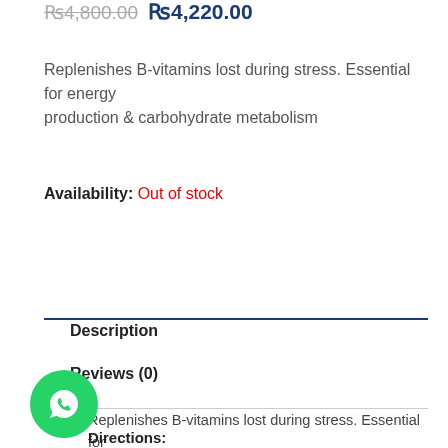₨4,800.00  ₨4,220.00
Replenishes B-vitamins lost during stress. Essential for energy production & carbohydrate metabolism
Availability: Out of stock
Description
Reviews (0)
Replenishes B-vitamins lost during stress. Essential for energy production & carbohydrate metabolism.
Directions: